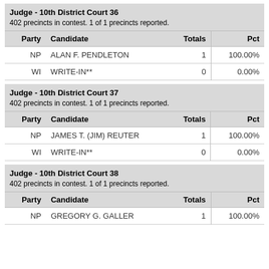Judge - 10th District Court 36
402 precincts in contest. 1 of 1 precincts reported.
| Party | Candidate | Totals | Pct |
| --- | --- | --- | --- |
| NP | ALAN F. PENDLETON | 1 | 100.00% |
| WI | WRITE-IN** | 0 | 0.00% |
Judge - 10th District Court 37
402 precincts in contest. 1 of 1 precincts reported.
| Party | Candidate | Totals | Pct |
| --- | --- | --- | --- |
| NP | JAMES T. (JIM) REUTER | 1 | 100.00% |
| WI | WRITE-IN** | 0 | 0.00% |
Judge - 10th District Court 38
402 precincts in contest. 1 of 1 precincts reported.
| Party | Candidate | Totals | Pct |
| --- | --- | --- | --- |
| NP | GREGORY G. GALLER | 1 | 100.00% |